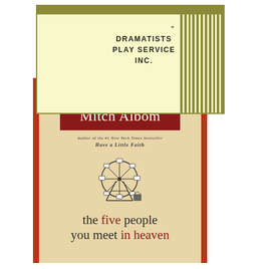[Figure (illustration): Dramatists Play Service Inc. logo card with cream background, gold horizontal stripe at top, vertical gold stripes on right side, a star symbol, and the text 'DRAMATISTS PLAY SERVICE INC.' in bold capital letters]
[Figure (illustration): Book cover for 'The Five People You Meet in Heaven' by Mitch Albom. Dark red border with cream interior. Top text: '#1 NEW YORK TIMES BESTSELLER'. Author name in white on dark red rectangle. Subtitle: 'Author of the #1 New York Times bestseller Have a Little Faith'. Vintage ferris wheel illustration in center. Title text at bottom in dark with 'the five people you meet in heaven' where 'five' and 'in heaven' are in dark red.]